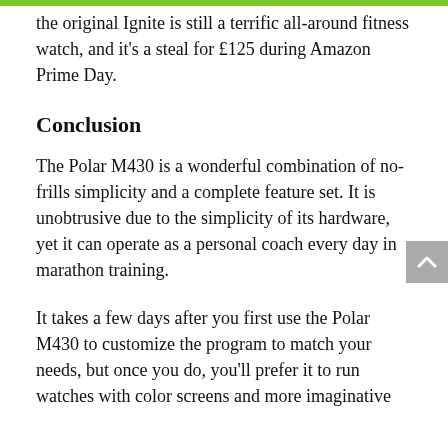the original Ignite is still a terrific all-around fitness watch, and it's a steal for £125 during Amazon Prime Day.
Conclusion
The Polar M430 is a wonderful combination of no-frills simplicity and a complete feature set. It is unobtrusive due to the simplicity of its hardware, yet it can operate as a personal coach every day in marathon training.
It takes a few days after you first use the Polar M430 to customize the program to match your needs, but once you do, you'll prefer it to run watches with color screens and more imaginative